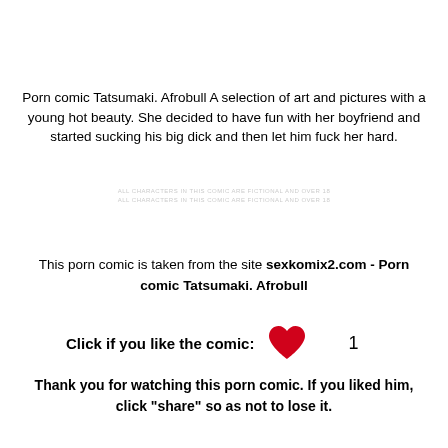Porn comic Tatsumaki. Afrobull A selection of art and pictures with a young hot beauty. She decided to have fun with her boyfriend and started sucking his big dick and then let him fuck her hard.
all characters in this comic are fictional and over 18
all characters in this comic are fictional and over 18
This porn comic is taken from the site sexkomix2.com - Porn comic Tatsumaki. Afrobull
Click if you like the comic:   ❤   1
Thank you for watching this porn comic. If you liked him, click "share" so as not to lose it.